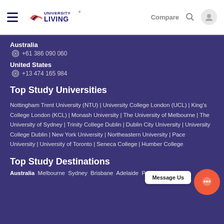University Living — Compare
Australia
☎ +61 386 090 060
United States
☎ +13 474 165 984
Top Study Universities
Nottingham Trent University (NTU) | University College London (UCL) | King's College London (KCL) | Monash University | The University of Melbourne | The University of Sydney | Trinity College Dublin | Dublin City University | University College Dublin | New York University | Northeastern University | Pace University | University of Toronto | Seneca College | Humber College
Top Study Destinations
Australia  Melbourne  Sydney  Brisbane  Adelaide  Perth